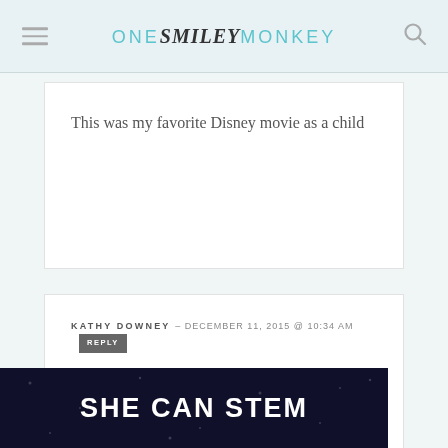ONE SMILEY MONKEY
This was my favorite Disney movie as a child
KATHY DOWNEY – DECEMBER 11, 2015 @ 10:34 AM   REPLY
This is a Classic
KATHY DOWNEY – MARCH 19, 2016 @ 12:37 PM   REPLY
[Figure (other): SHE CAN STEM advertisement banner with dark background and white bold text]